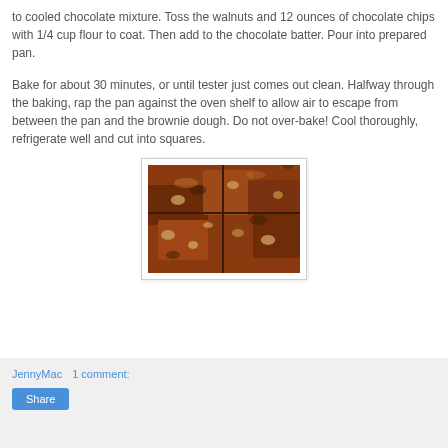to cooled chocolate mixture. Toss the walnuts and 12 ounces of chocolate chips with 1/4 cup flour to coat. Then add to the chocolate batter. Pour into prepared pan.
Bake for about 30 minutes, or until tester just comes out clean. Halfway through the baking, rap the pan against the oven shelf to allow air to escape from between the pan and the brownie dough. Do not over-bake! Cool thoroughly, refrigerate well and cut into squares.
[Figure (photo): A close-up photo of chocolate brownies cut into squares, showing a rich dark brown texture with visible nuts and chocolate chips on top.]
JennyMac    1 comment:
Share